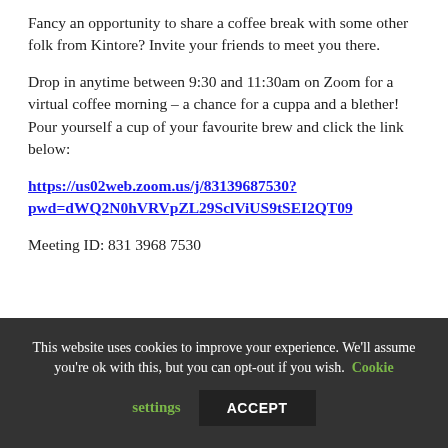Fancy an opportunity to share a coffee break with some other folk from Kintore? Invite your friends to meet you there.
Drop in anytime between 9:30 and 11:30am on Zoom for a virtual coffee morning – a chance for a cuppa and a blether! Pour yourself a cup of your favourite brew and click the link below:
https://us02web.zoom.us/j/83139687530?pwd=dWQ2N0hVRVpZL29SclViUS9tSEI2QT09
Meeting ID: 831 3968 7530
This website uses cookies to improve your experience. We'll assume you're ok with this, but you can opt-out if you wish. Cookie settings ACCEPT